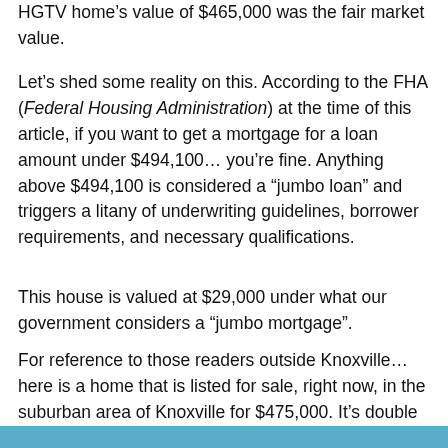HGTV home’s value of $465,000 was the fair market value.
Let’s shed some reality on this. According to the FHA (Federal Housing Administration) at the time of this article, if you want to get a mortgage for a loan amount under $494,100… you’re fine. Anything above $494,100 is considered a “jumbo loan” and triggers a litany of underwriting guidelines, borrower requirements, and necessary qualifications.
This house is valued at $29,000 under what our government considers a “jumbo mortgage”.
For reference to those readers outside Knoxville… here is a home that is listed for sale, right now, in the suburban area of Knoxville for $475,000. It’s double the size with double the bedrooms/bathrooms, and four times the yard space.